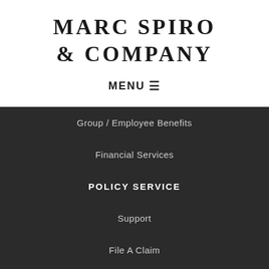MARC SPIRO & COMPANY
MENU ☰
Group / Employee Benefits
Financial Services
POLICY SERVICE
Support
File A Claim